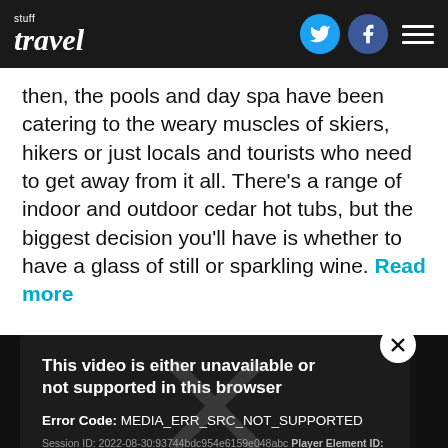stuff travel
then, the pools and day spa have been catering to the weary muscles of skiers, hikers or just locals and tourists who need to get away from it all. There's a range of indoor and outdoor cedar hot tubs, but the biggest decision you'll have is whether to have a glass of still or sparkling wine. Read more
[Figure (screenshot): Video player error dialog on dark background. Title: 'This video is either unavailable or not supported in this browser'. Error Code: MEDIA_ERR_SRC_NOT_SUPPORTED. Session ID: 2022-08-30:93744bdc954e6159e048abc Player Element ID: vjs_video_722. Large translucent X icon overlay. Close button (X) in top right corner.]